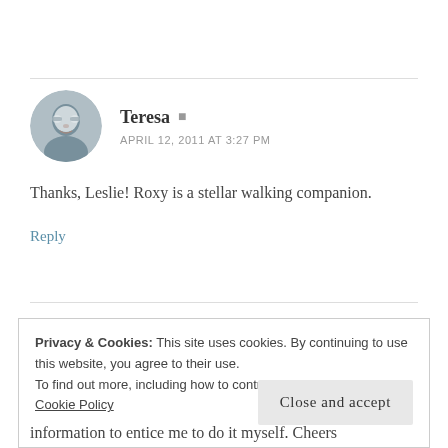[Figure (photo): Circular avatar photo of Teresa, a person wearing glasses, in blue-gray tones]
Teresa
APRIL 12, 2011 AT 3:27 PM
Thanks, Leslie! Roxy is a stellar walking companion.
Reply
Privacy & Cookies: This site uses cookies. By continuing to use this website, you agree to their use.
To find out more, including how to control cookies, see here: Cookie Policy
Close and accept
information to entice me to do it myself. Cheers